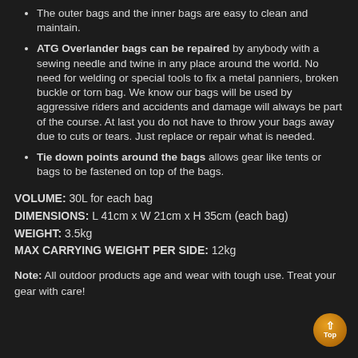The outer bags and the inner bags are easy to clean and maintain.
ATG Overlander bags can be repaired by anybody with a sewing needle and twine in any place around the world. No need for welding or special tools to fix a metal panniers, broken buckle or torn bag. We know our bags will be used by aggressive riders and accidents and damage will always be part of the course. At last you do not have to throw your bags away due to cuts or tears. Just replace or repair what is needed.
Tie down points around the bags allows gear like tents or bags to be fastened on top of the bags.
VOLUME: 30L for each bag
DIMENSIONS: L 41cm x W 21cm x H 35cm (each bag)
WEIGHT: 3.5kg
MAX CARRYING WEIGHT PER SIDE: 12kg
Note: All outdoor products age and wear with tough use. Treat your gear with care!